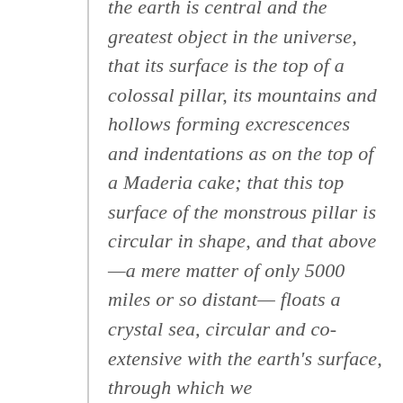the earth is central and the greatest object in the universe, that its surface is the top of a colossal pillar, its mountains and hollows forming excrescences and indentations as on the top of a Maderia cake; that this top surface of the monstrous pillar is circular in shape, and that above —a mere matter of only 5000 miles or so distant— floats a crystal sea, circular and co-extensive with the earth's surface, through which we